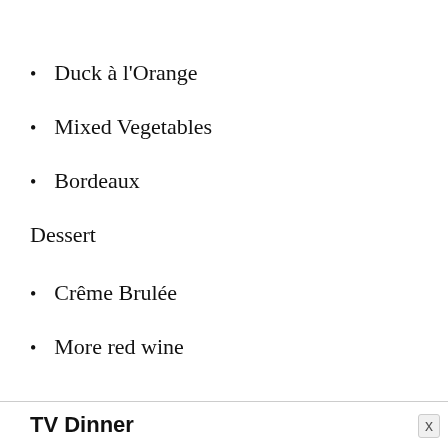Duck à l'Orange
Mixed Vegetables
Bordeaux
Dessert
Crême Brulée
More red wine
TV Dinner